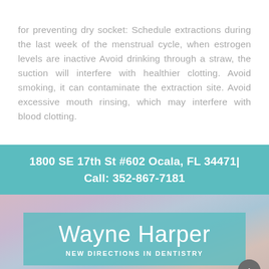for preventing dry socket: Schedule extractions during the last week of the menstrual cycle, when estrogen levels are inactive Avoid drinking through a straw, the suction will interfere with healthier clotting. Avoid smoking, it can contaminate the extraction site. Avoid excessive mouth rinsing, which may interfere with blood clotting.
1800 SE 17th St #602 Ocala, FL 34471| Call: 352-867-7181
[Figure (logo): Wayne Harper New Directions in Dentistry logo on a teal background overlaid on a cloudy sky background image]